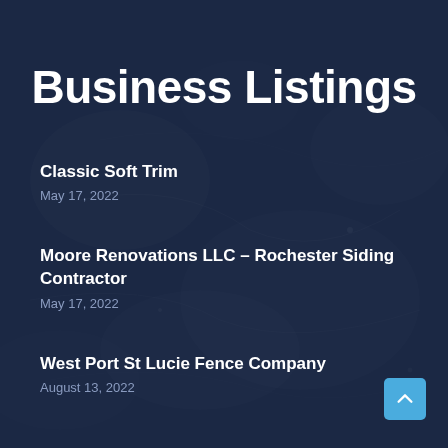Business Listings
Classic Soft Trim
May 17, 2022
Moore Renovations LLC – Rochester Siding Contractor
May 17, 2022
West Port St Lucie Fence Company
August 13, 2022